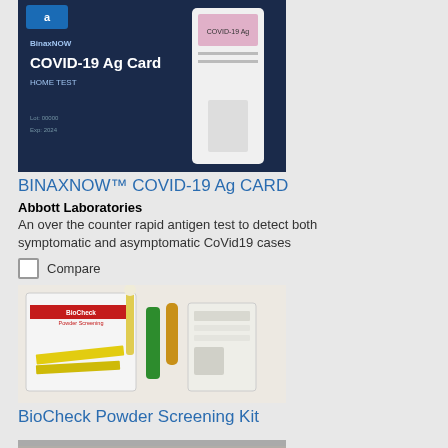[Figure (photo): BinaxNOW COVID-19 Ag Card Home Test product box and test card on dark blue background]
BINAXNOW™ COVID-19 Ag CARD
Abbott Laboratories
An over the counter rapid antigen test to detect both symptomatic and asymptomatic CoVid19 cases
Compare
[Figure (photo): BioCheck Powder Screening Kit — white box, test components, swabs, and yellow instruction sheets on white background]
BioCheck Powder Screening Kit
20/20 BioResponse
The BioCheck® Powder Screening Test Kit is used by first responders as a first step to investigate s...
Compare
[Figure (photo): Partial view of a third product image at the bottom of the page]